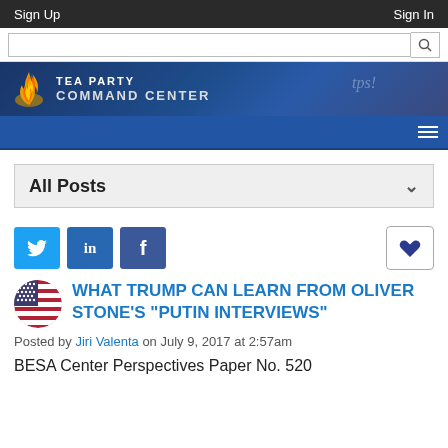Sign Up | Sign In
[Figure (screenshot): Tea Party Command Center logo banner with flame icon and navigation]
All Posts
[Figure (other): Social share buttons: Twitter, LinkedIn, Facebook, and a like/heart button]
WHAT TRUMP CAN LEARN FROM OLIVER STONE'S "PUTIN INTERVIEWS"
Posted by Jiri Valenta on July 9, 2017 at 2:57am
BESA Center Perspectives Paper No. 520